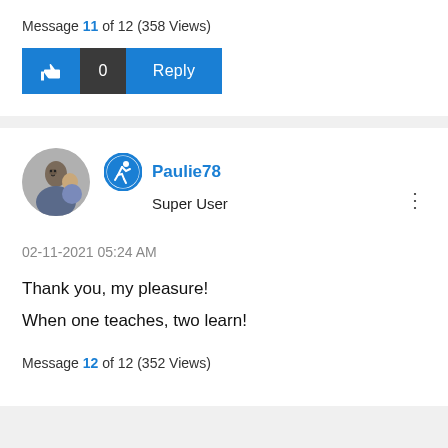Message 11 of 12 (358 Views)
[Figure (screenshot): Like button (thumbs up icon, blue), like count (0, dark background), and Reply button (blue)]
[Figure (photo): User profile photo of a man with a child, circular avatar, and Super User badge icon next to username Paulie78]
Paulie78
Super User
02-11-2021 05:24 AM
Thank you, my pleasure!
When one teaches, two learn!
Message 12 of 12 (352 Views)